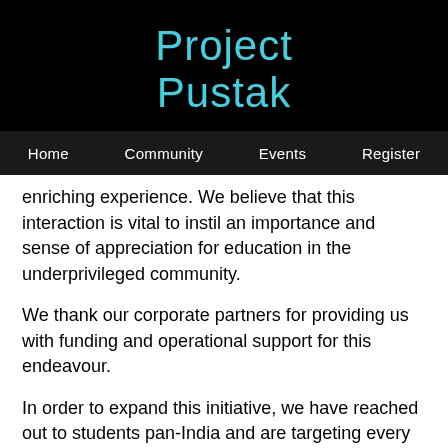[Figure (logo): Project Pustak logo in cyan cursive script on black background]
Home   Community   Events   Register
enriching experience. We believe that this interaction is vital to instil an importance and sense of appreciation for education in the underprivileged community.
We thank our corporate partners for providing us with funding and operational support for this endeavour.
In order to expand this initiative, we have reached out to students pan-India and are targeting every city in the country so as to empower the underprivileged. We have already reached 40 cities in over 13 states and have had 2 international outreaches in Nepal and Azerbaijan. Our aim is to enhance the educational experience of students throughout the journey of this country and beyond. W...